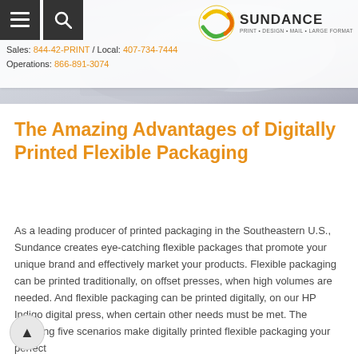[Figure (screenshot): Website header with Sundance Print Design Mail Large Format logo, navigation icons (menu and search), contact phone numbers, and a hero background image of printed flexible packaging materials]
The Amazing Advantages of Digitally Printed Flexible Packaging
As a leading producer of printed packaging in the Southeastern U.S., Sundance creates eye-catching flexible packages that promote your unique brand and effectively market your products. Flexible packaging can be printed traditionally, on offset presses, when high volumes are needed. And flexible packaging can be printed digitally, on our HP Indigo digital press, when certain other needs must be met. The following five scenarios make digitally printed flexible packaging your perfect